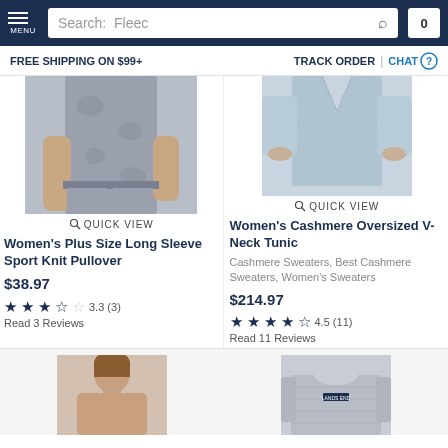MENU | Search: Fleec | 0
FREE SHIPPING ON $99+ | TRACK ORDER | CHAT
[Figure (photo): Women's clothing product photo - grey patterned leggings]
QUICK VIEW
Women's Plus Size Long Sleeve Sport Knit Pullover
$38.97
3.3 (3)
Read 3 Reviews
[Figure (photo): Women's light blue cashmere tunic product photo]
QUICK VIEW
Women's Cashmere Oversized V-Neck Tunic
Cashmere Sweaters, Best Cashmere Sweaters, Women's Sweaters
$214.97
4.5 (11)
Read 11 Reviews
[Figure (photo): Woman model photo for third product]
[Figure (photo): Grey knit sweater product photo]